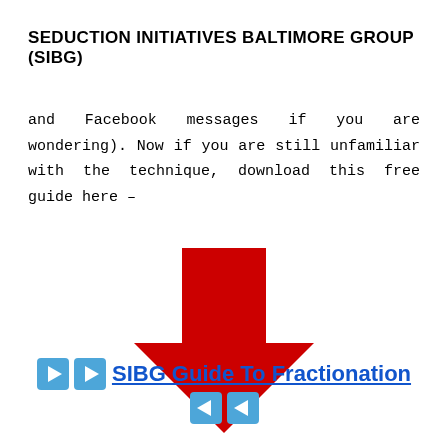SEDUCTION INITIATIVES BALTIMORE GROUP (SIBG)
and Facebook messages if you are wondering). Now if you are still unfamiliar with the technique, download this free guide here –
[Figure (illustration): A large red downward-pointing arrow in the center of the page]
▶ ▶ SIBG Guide To Fractionation ◀ ◀